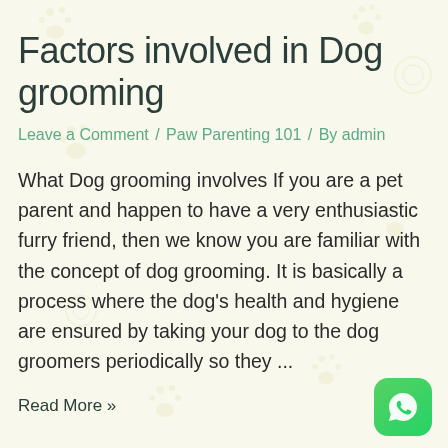Factors involved in Dog grooming
Leave a Comment / Paw Parenting 101 / By admin
What Dog grooming involves If you are a pet parent and happen to have a very enthusiastic furry friend, then we know you are familiar with the concept of dog grooming. It is basically a process where the dog's health and hygiene are ensured by taking your dog to the dog groomers periodically so they ...
Read More »
[Figure (logo): WhatsApp icon button — green rounded square with white telephone handset inside speech bubble logo]